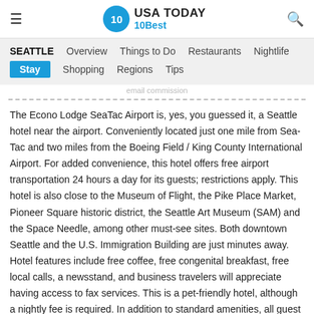USA TODAY 10Best
SEATTLE  Overview  Things to Do  Restaurants  Nightlife  Stay  Shopping  Regions  Tips
The Econo Lodge SeaTac Airport is, yes, you guessed it, a Seattle hotel near the airport. Conveniently located just one mile from Sea-Tac and two miles from the Boeing Field / King County International Airport. For added convenience, this hotel offers free airport transportation 24 hours a day for its guests; restrictions apply. This hotel is also close to the Museum of Flight, the Pike Place Market, Pioneer Square historic district, the Seattle Art Museum (SAM) and the Space Needle, among other must-see sites. Both downtown Seattle and the U.S. Immigration Building are just minutes away. Hotel features include free coffee, free congenital breakfast, free local calls, a newsstand, and business travelers will appreciate having access to fax services. This is a pet-friendly hotel, although a nightly fee is required. In addition to standard amenities, all guest